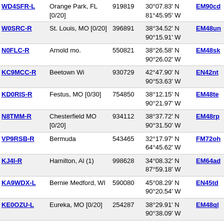| Callsign | Location | ID | Coordinates | Grid | Dist1 | Dist2 |
| --- | --- | --- | --- | --- | --- | --- |
| WD4SFR-L | Orange Park, FL [0/20] | 919819 | 30°07.83' N 81°45.95' W | EM90cd | 803.5 |  |
| W0SRC-R | St. Louis, MO [0/20] | 396891 | 38°34.52' N 90°15.91' W | EM48un | 804.5 |  |
| N0FLC-R | Arnold mo. | 550821 | 38°26.58' N 90°26.02' W | EM48sk | 815.6 | 147.2 |
| KC9MCC-R | Beetown Wi | 930729 | 42°47.90' N 90°53.63' W | EN42nt | 816.0 | 146.8 |
| KD0RIS-R | Festus, MO [0/30] | 754850 | 38°12.15' N 90°21.97' W | EM48te | 816.5 |  |
| N8TMM-R | Chesterfield MO [0/20] | 934112 | 38°37.72' N 90°31.50' W | EM48rp | 817.2 | 146.6 |
| VP9RSB-R | Bermuda | 543465 | 32°17.97' N 64°45.62' W | FM72oh | 818.9 |  |
| KJ4I-R | Hamilton, Al (1) | 998628 | 34°08.32' N 87°59.18' W | EM64ad | 820.9 |  |
| KA9WDX-L | Bernie Medford, WI | 590080 | 45°08.29' N 90°20.54' W | EN45td | 822.1 | 433.0 |
| KE0OZU-L | Eureka, MO [0/20] | 254287 | 38°29.91' N 90°38.09' W | EM48ql | 825.2 |  |
| WR4SG-R | your-Valdosta, GA [0/20] | 666863 | 30°13.20' N 83°00.00' W | EM80mf | 831.4 |  |
| W4RSG-L | Fisherville,TN (1) | 185853 | 35°12.84' N 89°05.70' W | EM55kf | 833.0 | 443.1 |
| N0RXD-R | 145.47 Iowa City, IA | 813957 | 41°38.30' N 91°26.52' W | EN41gp | 840.1 | 145.4 |
| AL7RH-L | In Conference | 435193 | 43°48.00' N | EN43it | 841.2 | 146 |